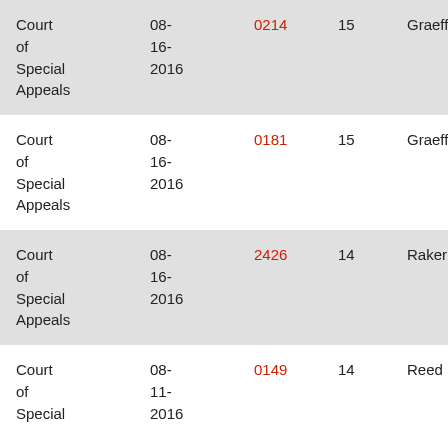| Court | Date | Case No. | Col4 | Judge | Col6 |
| --- | --- | --- | --- | --- | --- |
| Court of Special Appeals | 08-16-2016 | 0214 | 15 | Graeff | Mc |
| Court of Special Appeals | 08-16-2016 | 0181 | 15 | Graeff | Ma |
| Court of Special Appeals | 08-16-2016 | 2426 | 14 | Raker | We M. |
| Court of Special Appeals | 08-11-2016 | 0149 | 14 | Reed | Car |